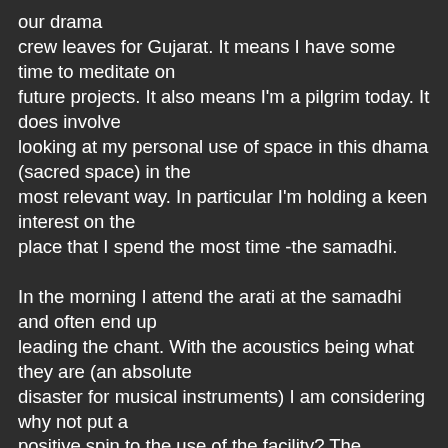our drama crew leaves for Gujarat. It means I have some time to meditate on future projects. It also means I'm a pilgrim today. It does involve looking at my personal use of space in this dhama (sacred space) in the most relevant way. In particular I'm holding a keen interest on the place that I spend the most time -the samadhi.

In the morning I attend the arati at the samadhi and often end up leading the chant. With the acoustics being what they are (an absolute disaster for musical instruments) I am considering why not put a positive spin to the use of the facility? The cavernous dome is highly non-conducive to drum, harmonium or cymbals but when singing with a soft and slow pace we could perhaps realize that here is a